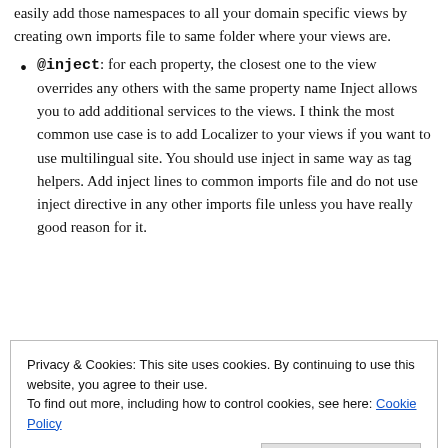easily add those namespaces to all your domain specific views by creating own imports file to same folder where your views are.
@inject: for each property, the closest one to the view overrides any others with the same property name Inject allows you to add additional services to the views. I think the most common use case is to add Localizer to your views if you want to use multilingual site. You should use inject in same way as tag helpers. Add inject lines to common imports file and do not use inject directive in any other imports file unless you have really good reason for it.
Privacy & Cookies: This site uses cookies. By continuing to use this website, you agree to their use.
To find out more, including how to control cookies, see here: Cookie Policy
sub folders beneath view start file. This means that you need